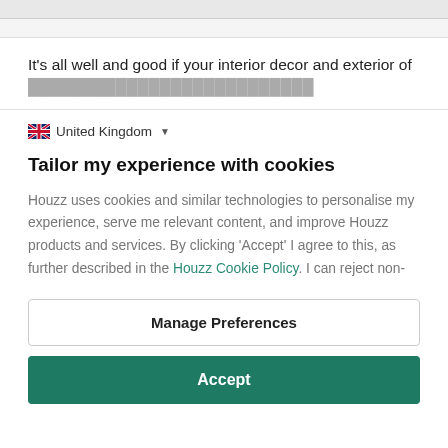It’s all well and good if your interior decor and exterior of
United Kingdom
Tailor my experience with cookies
Houzz uses cookies and similar technologies to personalise my experience, serve me relevant content, and improve Houzz products and services. By clicking ‘Accept’ I agree to this, as further described in the Houzz Cookie Policy. I can reject non-
Manage Preferences
Accept